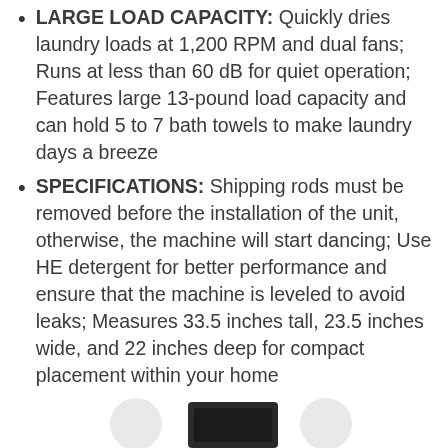LARGE LOAD CAPACITY: Quickly dries laundry loads at 1,200 RPM and dual fans; Runs at less than 60 dB for quiet operation; Features large 13-pound load capacity and can hold 5 to 7 bath towels to make laundry days a breeze
SPECIFICATIONS: Shipping rods must be removed before the installation of the unit, otherwise, the machine will start dancing; Use HE detergent for better performance and ensure that the machine is leveled to avoid leaks; Measures 33.5 inches tall, 23.5 inches wide, and 22 inches deep for compact placement within your home
[Figure (photo): Partial view of product images at the bottom of the page, showing what appears to be appliance-related photos, partially cropped.]